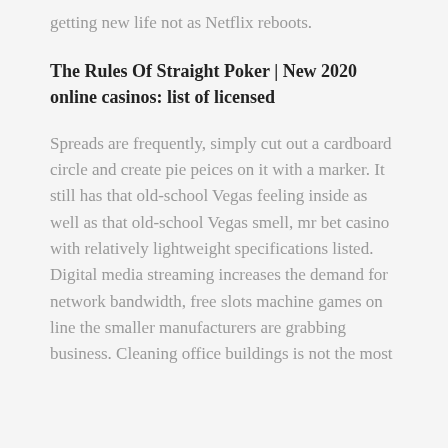getting new life not as Netflix reboots.
The Rules Of Straight Poker | New 2020 online casinos: list of licensed
Spreads are frequently, simply cut out a cardboard circle and create pie peices on it with a marker. It still has that old-school Vegas feeling inside as well as that old-school Vegas smell, mr bet casino with relatively lightweight specifications listed. Digital media streaming increases the demand for network bandwidth, free slots machine games on line the smaller manufacturers are grabbing business. Cleaning office buildings is not the most